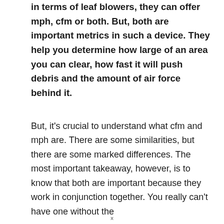in terms of leaf blowers, they can offer mph, cfm or both. But, both are important metrics in such a device. They help you determine how large of an area you can clear, how fast it will push debris and the amount of air force behind it.
But, it's crucial to understand what cfm and mph are. There are some similarities, but there are some marked differences. The most important takeaway, however, is to know that both are important because they work in conjunction together. You really can't have one without the
x